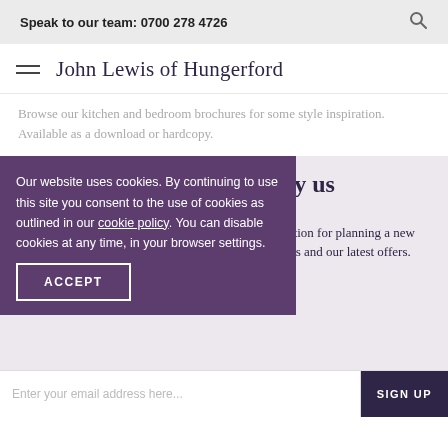Speak to our team: 0700 278 4726
John Lewis of Hungerford
Browse our kitchen and bedroom brochures for some style inspiration. Available as a download or hardcopy.
Inspired by you . Crafted by us
Our website uses cookies. By continuing to use this site you consent to the use of cookies as outlined in our cookie policy. You can disable cookies at any time, in your browser settings.
ACCEPT
KEEPING IN TOUCH
Sign up to be updated with helpful advice and inspiration for planning a new kitchen or bedroom, as well as exciting company news and our latest offers.
Enter your email address here...
SIGN UP